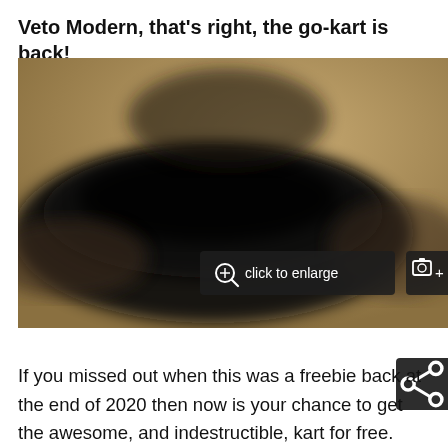Veto Modern, that's right, the go-kart is back!
[Figure (photo): Blurred photo of a go-kart with dark overlay buttons: 'click to enlarge' with magnifier icon, and '+3' camera icon button. A share icon button partially visible at bottom right.]
If you missed out when this was a freebie back at the end of 2020 then now is your chance to get the awesome, and indestructible, kart for free.